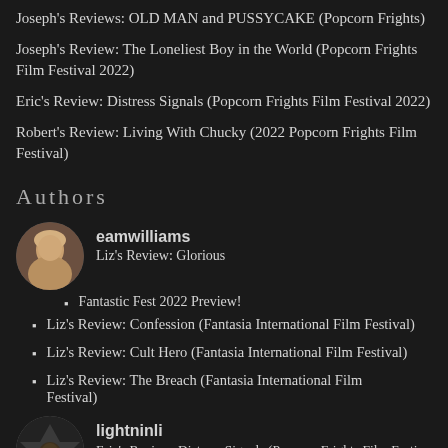Joseph's Reviews: OLD MAN and PUSSYCAKE (Popcorn Frights)
Joseph's Review: The Loneliest Boy in the World (Popcorn Frights Film Festival 2022)
Eric's Review: Distress Signals (Popcorn Frights Film Festival 2022)
Robert's Review: Living With Chucky (2022 Popcorn Frights Film Festival)
Authors
eamwilliams
Liz's Review: Glorious
Fantastic Fest 2022 Preview!
Liz's Review: Confession (Fantasia International Film Festival)
Liz's Review: Cult Hero (Fantasia International Film Festival)
Liz's Review: The Breach (Fantasia International Film Festival)
lightninli
Eric's Review: Distress Signals (Popcorn Frights Film Festival 2022)
Eric's Review: Mike Mignola: Drawing Monsters (2022 Popcorn...